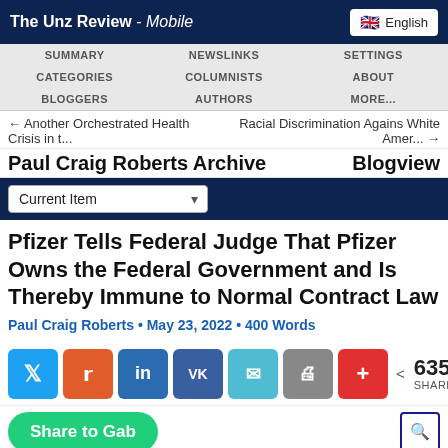The Unz Review - Mobile
SUMMARY | NEWSLINKS | SETTINGS | CATEGORIES | COLUMNISTS | ABOUT | BLOGGERS | AUTHORS | MORE...
← Another Orchestrated Health Crisis in t...
Racial Discrimination Agains White Amer... →
Paul Craig Roberts Archive
Blogview
Current Item
Pfizer Tells Federal Judge That Pfizer Owns the Federal Government and Is Thereby Immune to Normal Contract Law
Paul Craig Roberts • May 23, 2022 • 400 Words
[Figure (other): Social share buttons: Twitter, Reddit, LinkedIn, VK, Email, Print, Plus. Share count: 635 SHARES.]
Share to Gab